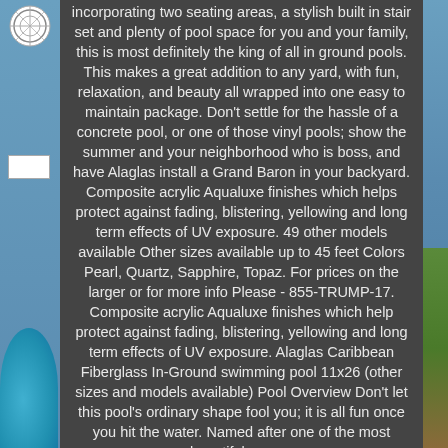incorporating two seating areas, a stylish built in stair set and plenty of pool space for you and your family, this is most definitely the king of all in ground pools. This makes a great addition to any yard, with fun, relaxation, and beauty all wrapped into one easy to maintain package. Don't settle for the hassle of a concrete pool, or one of those vinyl pools; show the summer and your neighborhood who is boss, and have Alaglas install a Grand Baron in your backyard. Composite acrylic Aqualuxe finishes which helps protect against fading, blistering, yellowing and long term effects of UV exposure. 49 other models available Other sizes available up to 45 feet Colors Pearl, Quartz, Sapphire, Topaz. For prices on the larger or for more info Please - 855-TRUMP-17. Composite acrylic Aqualuxe finishes which help protect against fading, blistering, yellowing and long term effects of UV exposure. Alaglas Caribbean Fiberglass In-Ground swimming pool 11x26 (other sizes and models available) Pool Overview Don't let this pool's ordinary shape fool you; it is all fun once you hit the water. Named after one of the most beautiful groups